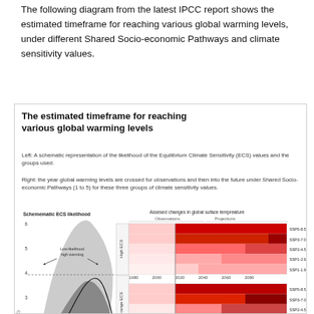The following diagram from the latest IPCC report shows the estimated timeframe for reaching various global warming levels, under different Shared Socio-economic Pathways and climate sensitivity values.
[Figure (infographic): IPCC diagram showing estimated timeframe for reaching various global warming levels. Left panel: Schematic ECS likelihood curve showing low-likelihood high warming, likely range, and low-likelihood low warming zones. Right panels: Assessed changes in global surface temperature for High ECS, Mid-range ECS, and Low ECS groups, with observations and projections from 1980-2080 for SSP scenarios (SSP5-8.5, SSP3-7.0, SSP2-4.5, SSP1-2.6, SSP1-1.9).]